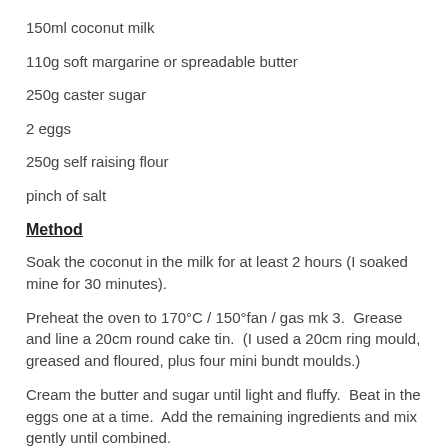150ml coconut milk
110g soft margarine or spreadable butter
250g caster sugar
2 eggs
250g self raising flour
pinch of salt
Method
Soak the coconut in the milk for at least 2 hours (I soaked mine for 30 minutes).
Preheat the oven to 170°C / 150°fan / gas mk 3.  Grease and line a 20cm round cake tin.  (I used a 20cm ring mould, greased and floured, plus four mini bundt moulds.)
Cream the butter and sugar until light and fluffy.  Beat in the eggs one at a time.  Add the remaining ingredients and mix gently until combined.